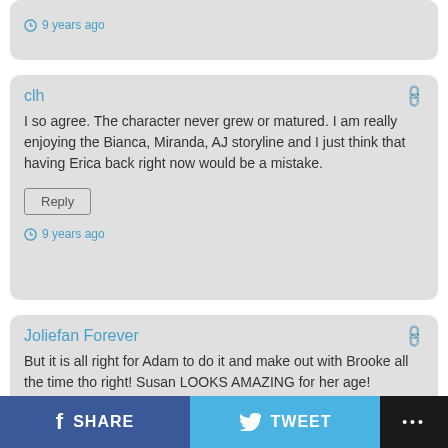9 years ago
clh
I so agree. The character never grew or matured. I am really enjoying the Bianca, Miranda, AJ storyline and I just think that having Erica back right now would be a mistake.
Reply
9 years ago
Joliefan Forever
But it is all right for Adam to do it and make out with Brooke all the time tho right! Susan LOOKS AMAZING for her age!
SHARE   TWEET   ...